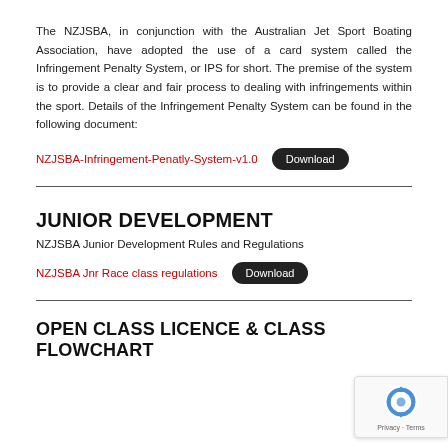The NZJSBA, in conjunction with the Australian Jet Sport Boating Association, have adopted the use of a card system called the Infringement Penalty System, or IPS for short. The premise of the system is to provide a clear and fair process to dealing with infringements within the sport. Details of the Infringement Penalty System can be found in the following document:
NZJSBA-Infringement-Penatly-System-v1.0 [Download]
JUNIOR DEVELOPMENT
NZJSBA Junior Development Rules and Regulations
NZJSBA Jnr Race class regulations [Download]
OPEN CLASS LICENCE & CLASS FLOWCHART